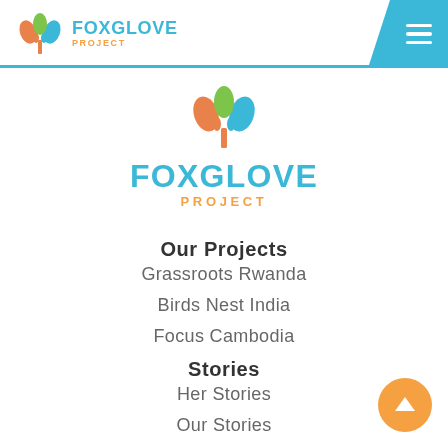[Figure (logo): Foxglove Project logo in header bar — tree icon with orange and teal leaves, text FOXGLOVE PROJECT in teal and orange]
[Figure (logo): Large centered Foxglove Project logo — tree icon with orange and teal leaves, large FOXGLOVE in teal, PROJECT in orange below]
Our Projects
Grassroots Rwanda
Birds Nest India
Focus Cambodia
Stories
Her Stories
Our Stories
Join Us
About Us